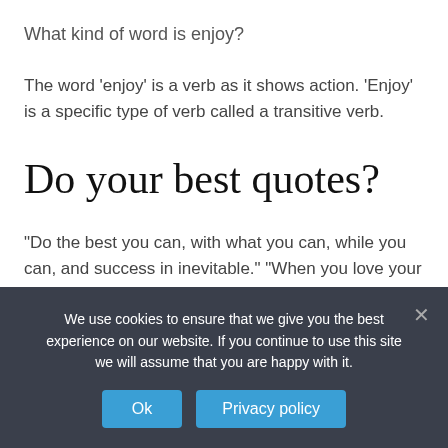What kind of word is enjoy?
The word 'enjoy' is a verb as it shows action. 'Enjoy' is a specific type of verb called a transitive verb.
Do your best quotes?
“Do the best you can, with what you can, while you can, and success in inevitable.” “When you love your work, you will be exceptionally diligent in what you do and you will excel in
We use cookies to ensure that we give you the best experience on our website. If you continue to use this site we will assume that you are happy with it.